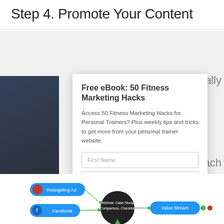Step 4. Promote Your Content
[Figure (screenshot): A popup modal dialog overlaying a webpage. The modal contains a title 'Free eBook: 50 Fitness Marketing Hacks', descriptive text about accessing 50 Fitness Marketing Hacks for Personal Trainers plus weekly tips and tricks, two form input fields for First Name and Email address, and a blue Download Now button. On the left edge a dark book cover is partially visible with text 'ng Hacks ainers' and a blue bar at bottom. A close (X) button appears at top right of modal. Partial text 'cally', 'each', 'use.' visible on right side of background. Bottom shows a partial marketing funnel diagram with nodes labeled 'Retargeting Ad', 'Facebook', 'Webinar, Case Study, Comparison, Checklist', 'Value Stream' connected by green arrows.]